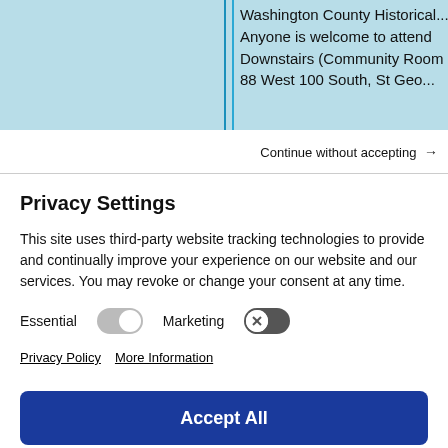Washington County Historical... Anyone is welcome to attend Downstairs (Community Room 88 West 100 South, St Geo...
Continue without accepting →
Privacy Settings
This site uses third-party website tracking technologies to provide and continually improve your experience on our website and our services. You may revoke or change your consent at any time.
Essential  [toggle on]  Marketing  [toggle off]
Privacy Policy   More Information
Accept All
Deny
Save Settings
Powered by Usercentrics Consent Management